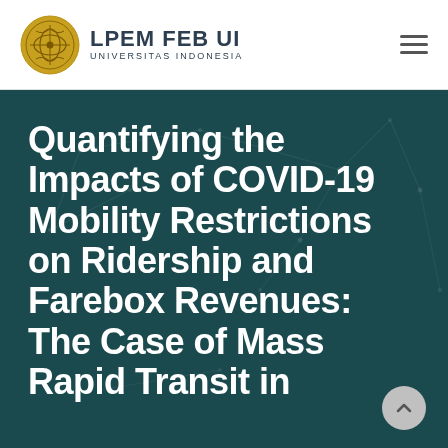LPEM FEB UI UNIVERSITAS INDONESIA
Quantifying the Impacts of COVID-19 Mobility Restrictions on Ridership and Farebox Revenues: The Case of Mass Rapid Transit in